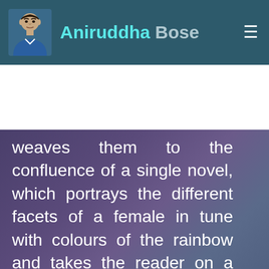Aniruddha Bose
weaves them to the confluence of a single novel, which portrays the different facets of a female in tune with colours of the rainbow and takes the reader on a deeper inner journey, beyond the prismatic spectrum, into the mystique shades of invisible ultra-violet or infra-red rays, where dwells the real truth of human realization